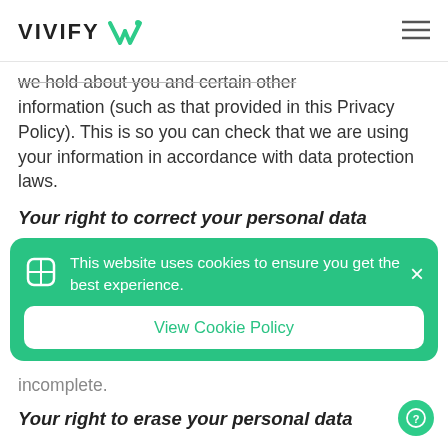VIVIFY [logo]
we hold about you and certain other information (such as that provided in this Privacy Policy). This is so you can check that we are using your information in accordance with data protection laws.
Your right to correct your personal data
[Figure (infographic): Cookie consent banner with green background, shield icon, message 'This website uses cookies to ensure you get the best experience.', close button (×), and 'View Cookie Policy' button.]
incomplete.
Your right to erase your personal data